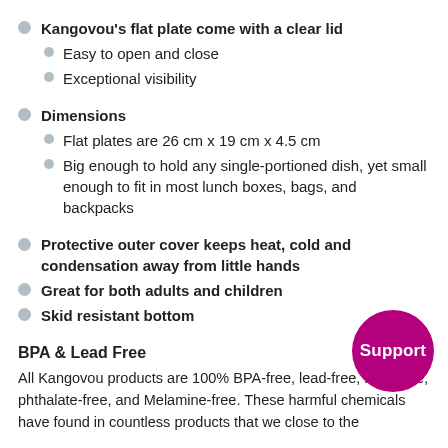Kangovou's flat plate come with a clear lid
Easy to open and close
Exceptional visibility
Dimensions
Flat plates are 26 cm x 19 cm x 4.5 cm
Big enough to hold any single-portioned dish, yet small enough to fit in most lunch boxes, bags, and backpacks
Protective outer cover keeps heat, cold and condensation away from little hands
Great for both adults and children
Skid resistant bottom
BPA & Lead Free
All Kangovou products are 100% BPA-free, lead-free, PVC-free, phthalate-free, and Melamine-free. These harmful chemicals have found in countless products that we close to the...